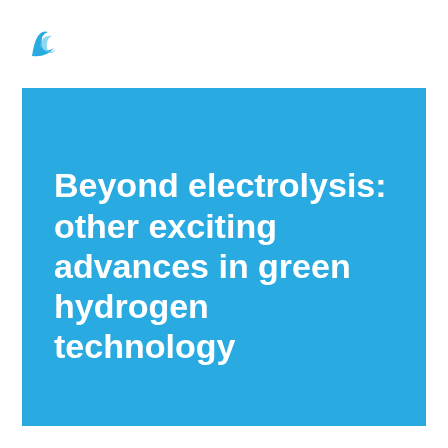[Figure (logo): Blue stylized wave/flame logo mark in upper left corner]
Beyond electrolysis: other exciting advances in green hydrogen technology